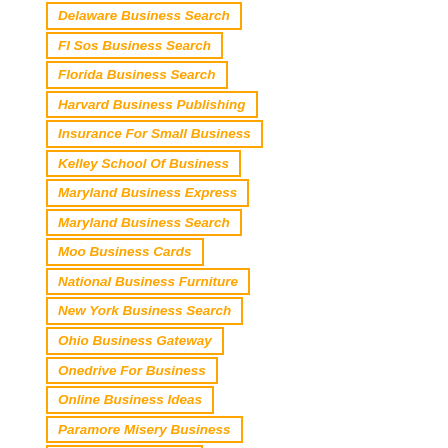Delaware Business Search
Fl Sos Business Search
Florida Business Search
Harvard Business Publishing
Insurance For Small Business
Kelley School Of Business
Maryland Business Express
Maryland Business Search
Moo Business Cards
National Business Furniture
New York Business Search
Ohio Business Gateway
Onedrive For Business
Online Business Ideas
Paramore Misery Business
Risky Business Cast
Small Business Insurance
Spectrum Business Customer Service